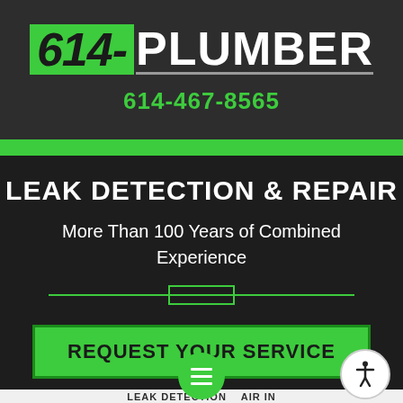614-PLUMBER
614-467-8565
LEAK DETECTION & REPAIR
More Than 100 Years of Combined Experience
REQUEST YOUR SERVICE